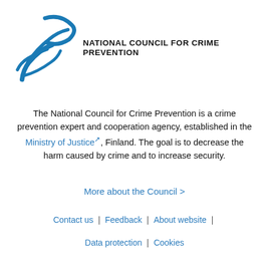[Figure (logo): National Council for Crime Prevention logo — abstract blue swoosh/bird figure with bold black text 'NATIONAL COUNCIL FOR CRIME PREVENTION']
The National Council for Crime Prevention is a crime prevention expert and cooperation agency, established in the Ministry of Justice, Finland. The goal is to decrease the harm caused by crime and to increase security.
More about the Council >
Contact us | Feedback | About website |
Data protection | Cookies